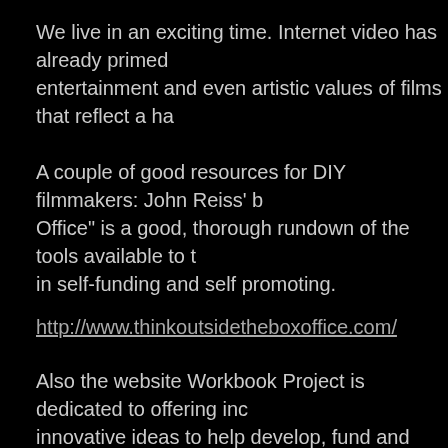We live in an exciting time. Internet video has already primed entertainment and even artistic values of films that reflect a ha
A couple of good resources for DIY filmmakers: John Reiss' b Office" is a good, thorough rundown of the tools available to t in self-funding and self promoting.
http://www.thinkoutsidetheboxoffice.com/
Also the website Workbook Project is dedicated to offering inc innovative ideas to help develop, fund and distribute their owr
http://workbookproject.com/
Previous Posts